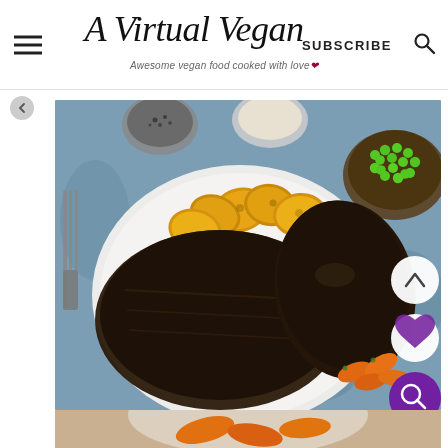A Virtual Vegan — Awesome vegan food cooked with love
[Figure (photo): Top-down food photo on a blue background: a white plate with sliced dark brown seitan/vegan roast, golden roasted potatoes, and roasted carrots. A bowl of green peas is visible top right. Small bowls of pepper and salt in top center. A fork on the left side.]